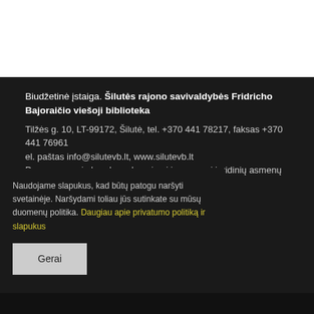Biudžetinė įstaiga. Šilutės rajono savivaldybės Fridricho Bajoraičio viešoji biblioteka
Tilžės g. 10, LT-99172, Šilutė, tel. +370 441 78217, faksas +370 441 76961
el. paštas info@silutevb.lt, www.silutevb.lt
Duomenys apie bendrovę kaupiami ir saugomi juridinių asmenų registre, kodas 190700188.
Naudojame slapukus, kad būtų patogu naršyti svetainėje. Naršydami toliau jūs sutinkate su mūsų duomenų politika. Daugiau apie privatumo politiką ir slapukus